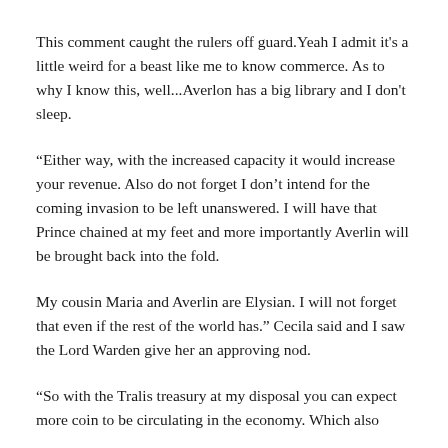This comment caught the rulers off guard.Yeah I admit it's a little weird for a beast like me to know commerce. As to why I know this, well...Averlon has a big library and I don't sleep.
“Either way, with the increased capacity it would increase your revenue. Also do not forget I don’t intend for the coming invasion to be left unanswered. I will have that Prince chained at my feet and more importantly Averlin will be brought back into the fold.
My cousin Maria and Averlin are Elysian. I will not forget that even if the rest of the world has.” Cecila said and I saw the Lord Warden give her an approving nod.
“So with the Tralis treasury at my disposal you can expect more coin to be circulating in the economy. Which also